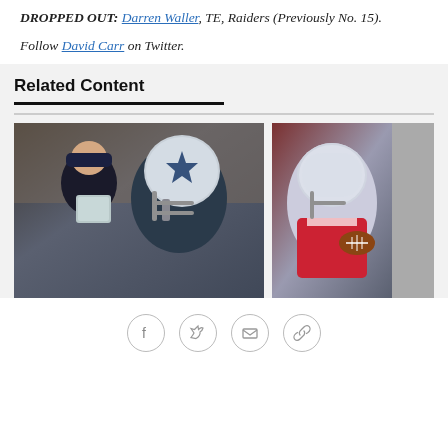DROPPED OUT: Darren Waller, TE, Raiders (Previously No. 15).
Follow David Carr on Twitter.
Related Content
[Figure (photo): Dallas Cowboys coach and player looking at a playbook on the sideline, player wearing Cowboys helmet with star]
[Figure (photo): New England Patriots quarterback in red and white uniform holding football]